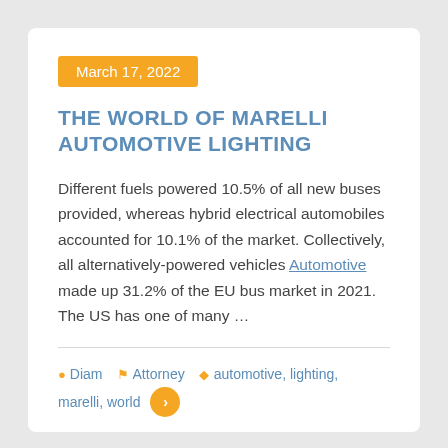March 17, 2022
THE WORLD OF MARELLI AUTOMOTIVE LIGHTING
Different fuels powered 10.5% of all new buses provided, whereas hybrid electrical automobiles accounted for 10.1% of the market. Collectively, all alternatively-powered vehicles Automotive made up 31.2% of the EU bus market in 2021. The US has one of many …
Diam  Attorney  automotive, lighting, marelli, world